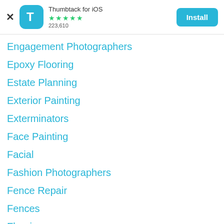Thumbtack for iOS ★★★★★ 223,610 Install
Engagement Photographers
Epoxy Flooring
Estate Planning
Exterior Painting
Exterminators
Face Painting
Facial
Fashion Photographers
Fence Repair
Fences
Flooring
Furniture Movers